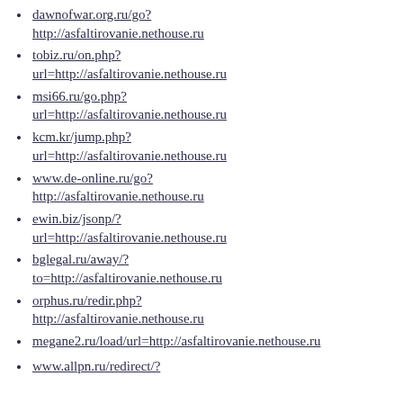dawnofwar.org.ru/go?
http://asfaltirovanie.nethouse.ru
tobiz.ru/on.php?url=http://asfaltirovanie.nethouse.ru
msi66.ru/go.php?url=http://asfaltirovanie.nethouse.ru
kcm.kr/jump.php?url=http://asfaltirovanie.nethouse.ru
www.de-online.ru/go?
http://asfaltirovanie.nethouse.ru
ewin.biz/jsonp/?url=http://asfaltirovanie.nethouse.ru
bglegal.ru/away/?to=http://asfaltirovanie.nethouse.ru
orphus.ru/redir.php?
http://asfaltirovanie.nethouse.ru
megane2.ru/load/url=http://asfaltirovanie.nethouse.ru
www.allpn.ru/redirect/?